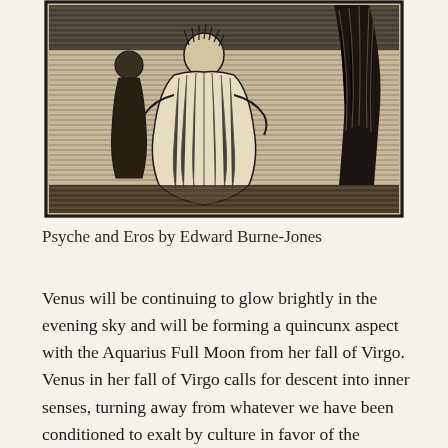[Figure (illustration): A woodcut-style black and white illustration depicting two figures — Psyche and Eros — rendered in dense hatching lines typical of Victorian-era engravings. A robed figure stands centrally, with flowing drapery, and a darker figure or tree form appears on the right side.]
Psyche and Eros by Edward Burne-Jones
Venus will be continuing to glow brightly in the evening sky and will be forming a quincunx aspect with the Aquarius Full Moon from her fall of Virgo. Venus in her fall of Virgo calls for descent into inner senses, turning away from whatever we have been conditioned to exalt by culture in favor of the